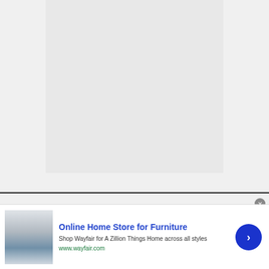[Figure (photo): Large light gray placeholder image area, approximately 296x288px, representing a document or article image]
[Figure (photo): Circular avatar/profile photo with blue-toned appearance, partially visible at bottom of main content area]
[Figure (other): Advertisement banner for Wayfair Online Home Store for Furniture. Contains product image of kitchen appliances, bold blue title text, descriptive body text, green URL, and a blue circular arrow button. Close button (X) in gray circle at top right of ad.]